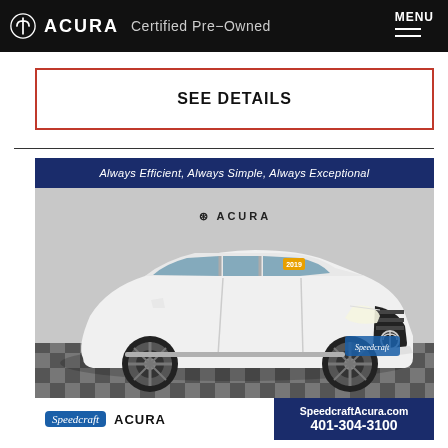ACURA Certified Pre-Owned  MENU
SEE DETAILS
[Figure (photo): Acura Certified Pre-Owned white SUV (MDX) parked in a showroom with checkered floor. Banner reads 'Always Efficient, Always Simple, Always Exceptional'. Acura logo on windshield. Speedcraft Acura dealership branding at bottom with SpeedcraftAcura.com and 401-304-3100.]